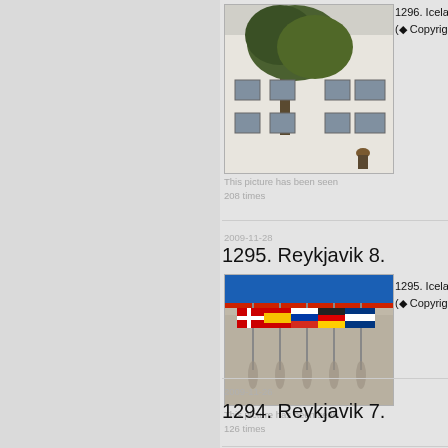[Figure (photo): Photo of a white building with windows and a tree in front, a person wearing a hat visible at the bottom right]
This picture has been seen
208 times
1296. Iceland, July 24, 2009.
(◆ Copyright: Henk Bakker
2009-11-28
1295. Reykjavik 8.
[Figure (photo): Photo of multiple international flags displayed on a pebbled surface with a blue roof/awning above]
This picture has been seen
126 times
1295. Iceland, July 24, 2009.
(◆ Copyright: Henk Bakker
2009-11-26
1294. Reykjavik 7.